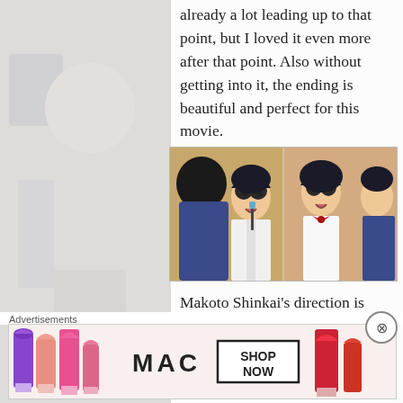already a lot leading up to that point, but I loved it even more after that point. Also without getting into it, the ending is beautiful and perfect for this movie.
[Figure (illustration): Anime screenshot from 'Your Name' (Kimi no Na wa) showing two characters looking surprised at each other in a mirror reflection scene — a boy and a girl in school uniforms.]
Makoto Shinkai's direction is spectacular. I have seen a number of excellent looking...
Advertisements
[Figure (photo): MAC Cosmetics advertisement banner showing colorful lipsticks on left, MAC logo in center, and a SHOP NOW box with a red lipstick on right.]